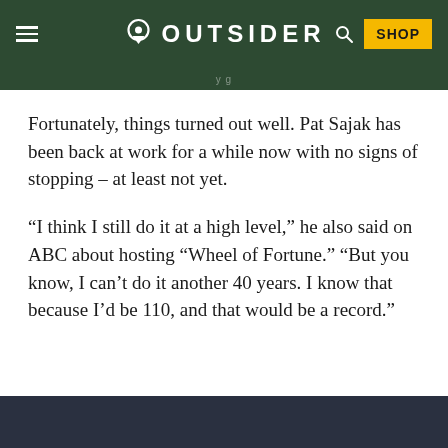OUTSIDER
Fortunately, things turned out well. Pat Sajak has been back at work for a while now with no signs of stopping – at least not yet.
“I think I still do it at a high level,” he also said on ABC about hosting “Wheel of Fortune.” “But you know, I can’t do it another 40 years. I know that because I’d be 110, and that would be a record.”